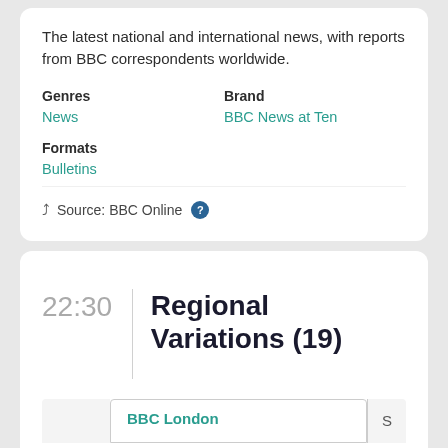The latest national and international news, with reports from BBC correspondents worldwide.
Genres
News
Brand
BBC News at Ten
Formats
Bulletins
Source: BBC Online
22:30  Regional Variations (19)
BBC London  S